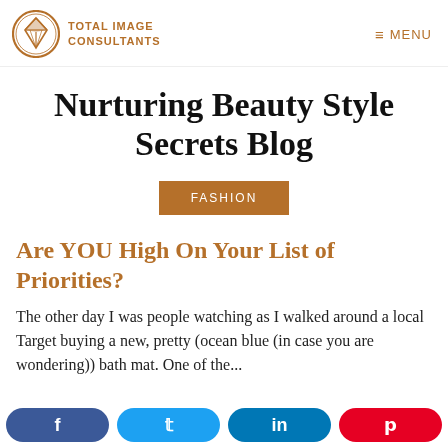TOTAL IMAGE CONSULTANTS | MENU
Nurturing Beauty Style Secrets Blog
FASHION
Are YOU High On Your List of Priorities?
The other day I was people watching as I walked around a local Target buying a new, pretty (ocean blue (in case you are wondering)) bath mat. One of the...